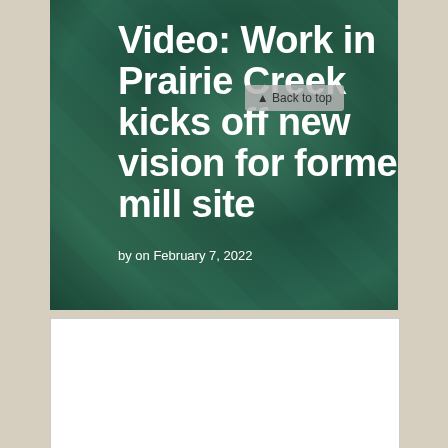Video: Work in Prairie Creek kicks off new vision for former mill site
by on February 7, 2022
[Figure (photo): Blurred aerial or ground-level photograph of Prairie Creek area, showing water and green landscape]
▲ Back to top